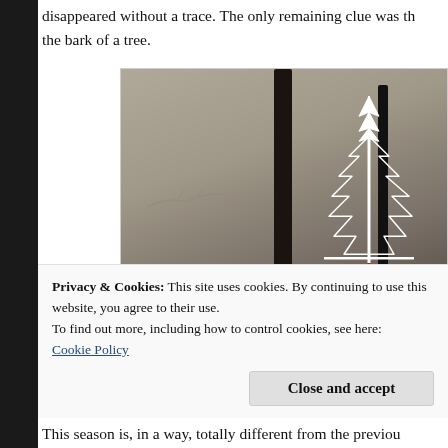disappeared without a trace. The only remaining clue was th... the bark of a tree.
[Figure (photo): Book cover for 'My Roanoke Nightmare' — a misty forest scene with dark tree trunks, a white illustrated tree with red roots, on a dark foggy background.]
Privacy & Cookies: This site uses cookies. By continuing to use this website, you agree to their use.
To find out more, including how to control cookies, see here:
Cookie Policy
Close and accept
This season is, in a way, totally different from the previou...